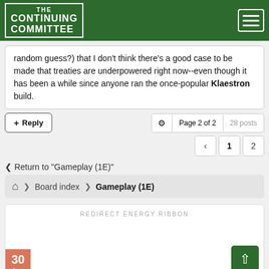THE CONTINUING COMMITTEE
random guess?) that I don't think there's a good case to be made that treaties are underpowered right now--even though it has been a while since anyone ran the once-popular Klaestron build.
+ Reply   Page 2 of 2   28 posts
< 1 2
< Return to "Gameplay (1E)"
Home > Board index > Gameplay (1E)
REDIRECT ENERGY RIBBON
30 Aug